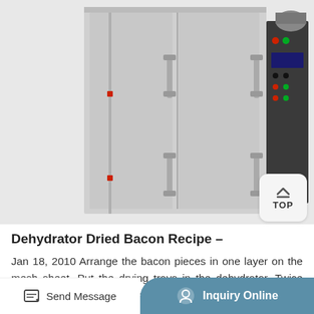[Figure (photo): Industrial dehydrator machine with stainless steel double doors and a dark control panel on the right side with buttons and a digital display]
Dehydrator Dried Bacon Recipe –
Jan 18, 2010 Arrange the bacon pieces in one layer on the mesh sheet. Put the drying trays in the dehydrator. Twice during the drying process, remove the drying bacon and wipe it with paper
Send Message   Inquiry Online